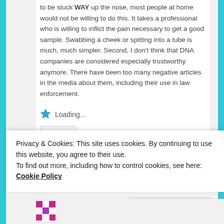to be stuck WAY up the nose, most people at home would not be willing to do this. It takes a professional who is willing to inflict the pain necessary to get a good sample. Swabbing a cheek or spitting into a tube is much, much simpler. Second, I don't think that DNA companies are considered especially trustworthy anymore. There have been too many negative articles in the media about them, including their use in law enforcement.
Loading...
Reply ↓
Privacy & Cookies: This site uses cookies. By continuing to use this website, you agree to their use.
To find out more, including how to control cookies, see here: Cookie Policy
Close and accept